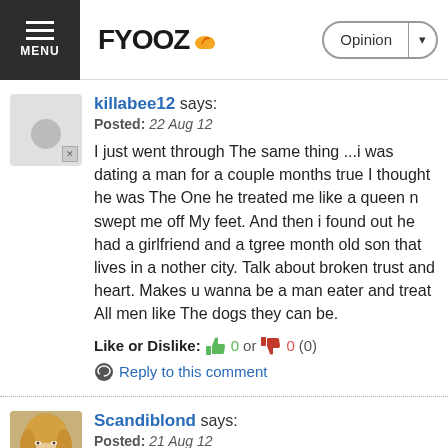FYOOZ — Opinion
killabee12 says:
Posted: 22 Aug 12
I just went through The same thing ...i was dating a man for a couple months true I thought he was The One he treated me like a queen n swept me off My feet. And then i found out he had a girlfriend and a tgree month old son that lives in a nother city. Talk about broken trust and heart. Makes u wanna be a man eater and treat All men like The dogs they can be.
Like or Dislike: 0 or 0 (0)
Reply to this comment
Scandiblond says:
Posted: 21 Aug 12
A deak breaker!!! I been dating this guy on this site and thought this is it..until i did find out he is married!! Come on..who are you kidding!! Feelings get hurt and